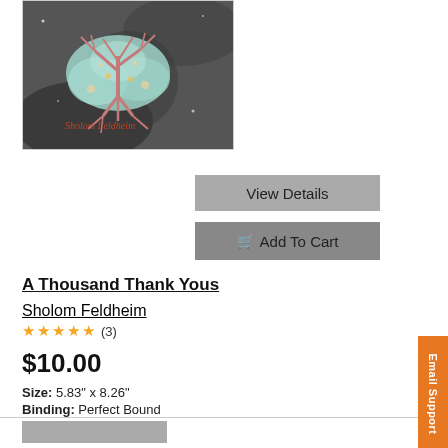[Figure (illustration): Book cover image for 'A Thousand Thank Yous' by Sholom Feldheim, showing a stylized tree with roots against a dark background with teal cloud shapes, watermark text 'Sholom Feldheim' in red-orange italic]
View Details
Add To Cart
A Thousand Thank Yous
Sholom Feldheim
★★★★★ (3)
$10.00
Size: 5.83" x 8.26"
Binding: Perfect Bound
An exciting adventure story for young adults of all ages.